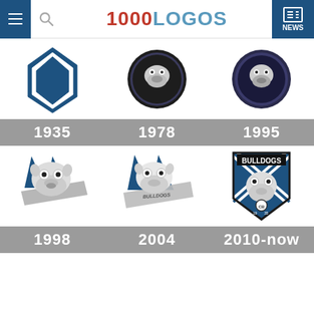1000LOGOS NEWS
[Figure (illustration): Canterbury Bulldogs logo history grid showing 6 logos from 1935 to 2010-now with year labels: 1935, 1978, 1995, 1998, 2004, 2010-now]